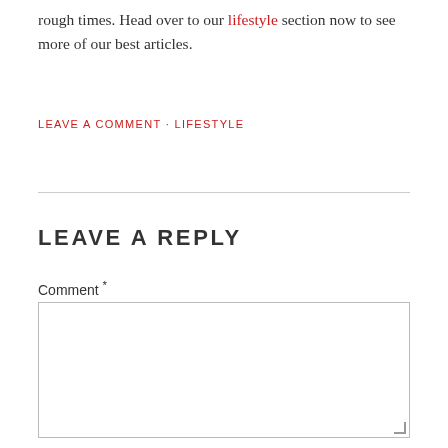rough times. Head over to our lifestyle section now to see more of our best articles.
LEAVE A COMMENT · LIFESTYLE
LEAVE A REPLY
Comment *